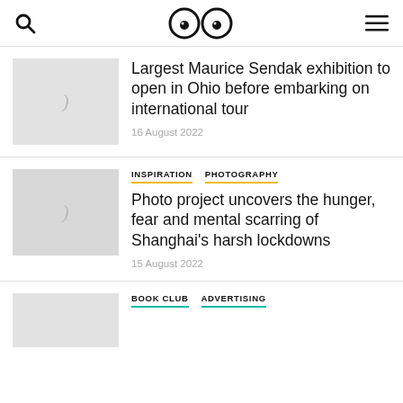Navigation bar with search icon, logo (two circles/eyes), and hamburger menu
[Figure (screenshot): Thumbnail image placeholder (grey) for Sendak article]
Largest Maurice Sendak exhibition to open in Ohio before embarking on international tour
16 August 2022
INSPIRATION  PHOTOGRAPHY — Photo project uncovers the hunger, fear and mental scarring of Shanghai's harsh lockdowns — 15 August 2022
[Figure (screenshot): Thumbnail image placeholder (grey) for Shanghai lockdown article]
Photo project uncovers the hunger, fear and mental scarring of Shanghai's harsh lockdowns
15 August 2022
[Figure (screenshot): Thumbnail image placeholder (grey) for Book Club article (partial)]
BOOK CLUB  ADVERTISING